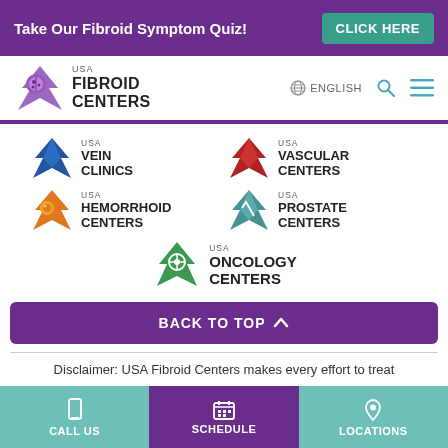Take Our Fibroid Symptom Quiz! CLICK HERE
[Figure (logo): USA Fibroid Centers logo with ladybug and chevron icon]
ENGLISH
[Figure (logo): USA Vein Clinics logo]
[Figure (logo): USA Vascular Centers logo]
[Figure (logo): USA Hemorrhoid Centers logo]
[Figure (logo): USA Prostate Centers logo]
[Figure (logo): USA Oncology Centers logo]
BACK TO TOP ∧
Disclaimer: USA Fibroid Centers makes every effort to treat
CALL US
SCHEDULE
LOCATIONS